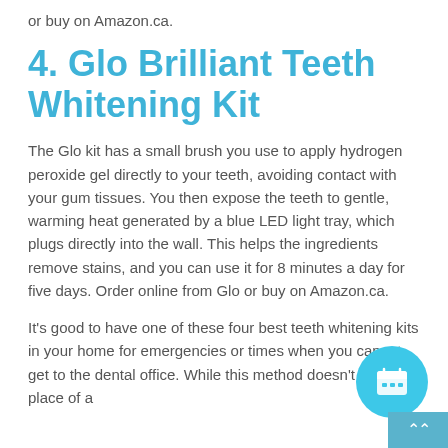or buy on Amazon.ca.
4. Glo Brilliant Teeth Whitening Kit
The Glo kit has a small brush you use to apply hydrogen peroxide gel directly to your teeth, avoiding contact with your gum tissues. You then expose the teeth to gentle, warming heat generated by a blue LED light tray, which plugs directly into the wall. This helps the ingredients remove stains, and you can use it for 8 minutes a day for five days. Order online from Glo or buy on Amazon.ca.
It's good to have one of these four best teeth whitening kits in your home for emergencies or times when you cannot get to the dental office. While this method doesn't take the place of a